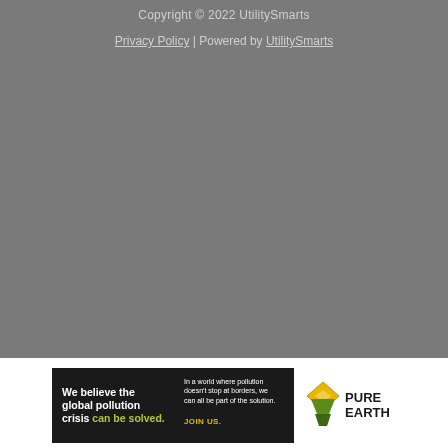Copyright © 2022 UtilitySmarts
Privacy Policy | Powered by UtilitySmarts
[Figure (illustration): Pure Earth advertisement banner. Left black section reads 'We believe the global pollution crisis can be solved.' with 'can be solved.' in green. Center text reads 'In a world where pollution doesn't stop at borders, we can all be part of the solution. JOIN US.' in yellow. Right section shows Pure Earth logo with diamond/shield icon in gold/yellow and green, with text 'PURE EARTH'.]